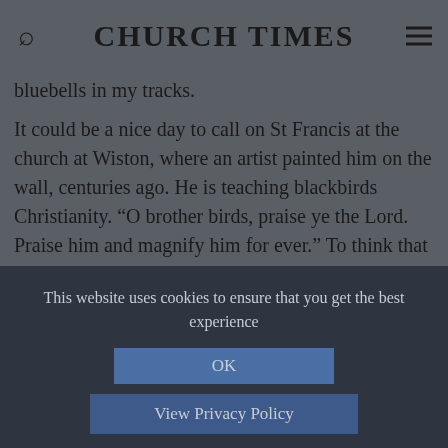CHURCH TIMES
bluebells in my tracks.
It could be a nice day to call on St Francis at the church at Wiston, where an artist painted him on the wall, centuries ago. He is teaching blackbirds Christianity. “O brother birds, praise ye the Lord. Praise him and magnify him for ever.” To think that there was a time when an acknowledgement of nature was frowned on, when those who understood its sacredness were regarded with suspicion!
This website uses cookies to ensure that you get the best experience
OK
View Privacy Policy